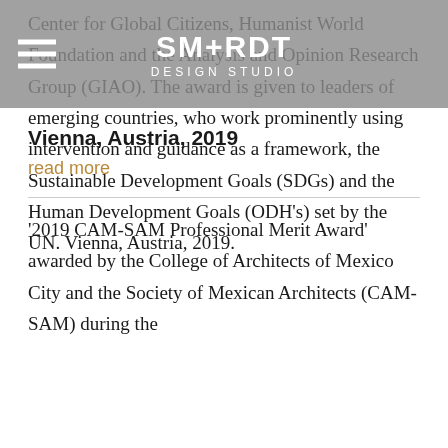SM+RDT DESIGN STUDIO
Center for Global Citizens, Humanist World Foundation and the Analysis and Opinion Research Group (GIAO). The award is given to leaders of emerging countries, who work prominently using intervention and guidance as a framework, the Sustainable Development Goals (SDGs) and the Human Development Goals (ODH’s) set by the UN. Vienna, Austria, 2019.
Vienna, Austria, 2019
read more
‘2019 CAM-SAM Professional Merit Award’ awarded by the College of Architects of Mexico City and the Society of Mexican Architects (CAM-SAM) during the